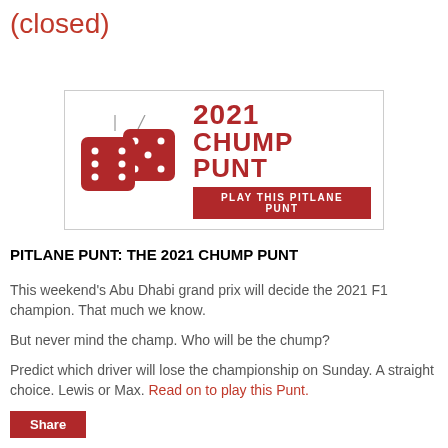(closed)
[Figure (logo): 2021 Chump Punt banner with two red dice suspended by strings on the left, and bold red text reading '2021 CHUMP PUNT' on the right, with a dark red bar at the bottom reading 'PLAY THIS PITLANE PUNT']
PITLANE PUNT: THE 2021 CHUMP PUNT
This weekend's Abu Dhabi grand prix will decide the 2021 F1 champion. That much we know.
But never mind the champ. Who will be the chump?
Predict which driver will lose the championship on Sunday. A straight choice. Lewis or Max. Read on to play this Punt.